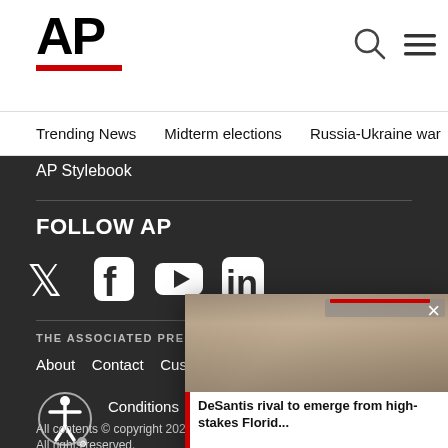AP
Trending News   Midterm elections   Russia-Ukraine war   Dona
AP Stylebook
FOLLOW AP
[Figure (logo): Social media icons: Twitter, Facebook, YouTube, LinkedIn]
THE ASSOCIATED PRESS
About   Contact   Customer Support
Terms & Conditions   Privacy
All contents © copyright 2022 The As
All rights reserved.
[Figure (photo): Popup overlay showing a smiling woman with text: DeSantis rival to emerge from high-stakes Florid...]